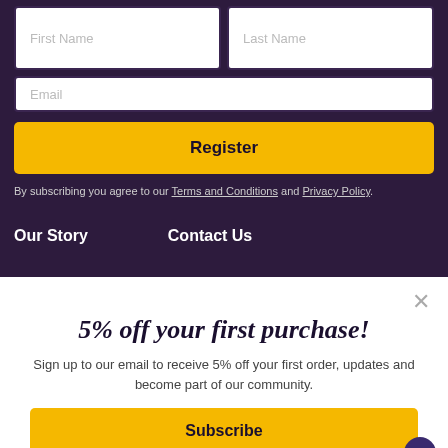[Figure (screenshot): Web registration form with First Name and Last Name input fields on top row, Email field below, and a yellow Register button. Dark purple background.]
First Name
Last Name
Email
Register
By subscribing you agree to our Terms and Conditions and Privacy Policy.
Our Story
Contact Us
5% off your first purchase!
Sign up to our email to receive 5% off your first order, updates and become part of our community.
Subscribe